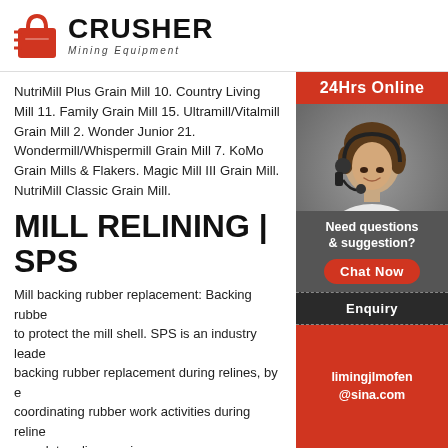[Figure (logo): Crusher Mining Equipment logo with red shopping bag icon and bold CRUSHER text]
NutriMill Plus Grain Mill 10. Country Living Mill 11. Family Grain Mill 15. Ultramill/Vitalmill Grain Mill 2. Wonder Junior 21. Wondermill/Whispermill Grain Mill 7. KoMo Grain Mills & Flakers. Magic Mill III Grain Mill. NutriMill Classic Grain Mill.
MILL RELINING | SPS
Mill backing rubber replacement: Backing rubber to protect the mill shell. SPS is an industry leader backing rubber replacement during relines, by coordinating rubber work activities during reline complete reline service.
ALL REPLACEMENT PA JET TOOLS – PARTS ST
Flange Afs-1000B/2000 | 330004. Learn More to review this product. $39.95. View Product. A List Add to Compare.
[Figure (photo): Smiling woman with headset on dark background — customer support representative]
24Hrs Online
Need questions & suggestion?
Chat Now
Enquiry
limingjlmofen@sina.com